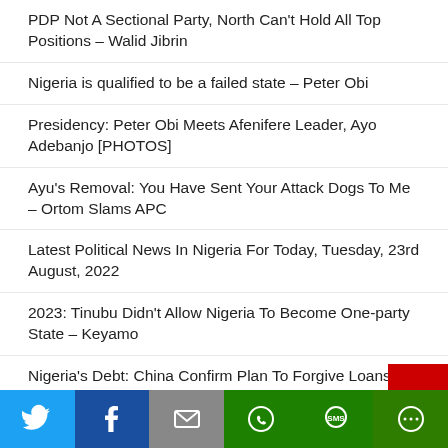PDP Not A Sectional Party, North Can't Hold All Top Positions – Walid Jibrin
Nigeria is qualified to be a failed state – Peter Obi
Presidency: Peter Obi Meets Afenifere Leader, Ayo Adebanjo [PHOTOS]
Ayu's Removal: You Have Sent Your Attack Dogs To Me – Ortom Slams APC
Latest Political News In Nigeria For Today, Tuesday, 23rd August, 2022
2023: Tinubu Didn't Allow Nigeria To Become One-party State – Keyamo
Nigeria's Debt: China Confirm Plan To Forgive Loans To 17 African Countries